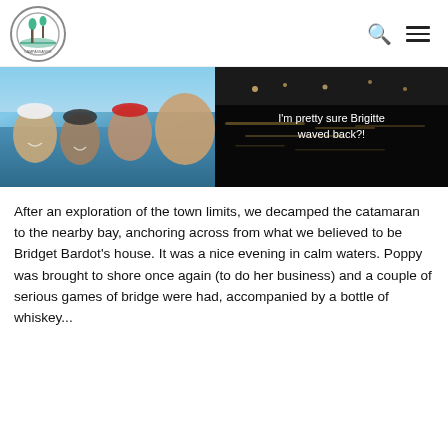Navigation header with logo, search icon, and menu icon
[Figure (photo): Four people smiling on a boat with blue sea and sky in background]
[Figure (photo): Dark nighttime scene with water reflections and overlay text: I'm pretty sure Brigitte waved back?!]
After an exploration of the town limits, we decamped the catamaran to the nearby bay, anchoring across from what we believed to be Bridget Bardot's house. It was a nice evening in calm waters. Poppy was brought to shore once again (to do her business) and a couple of serious games of bridge were had, accompanied by a bottle of whiskey...